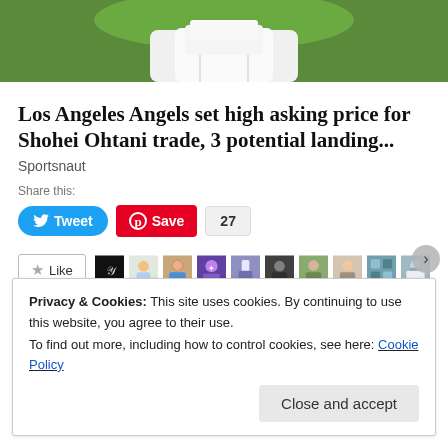[Figure (photo): Cropped photo of baseball player in white uniform against green background, showing lower body/torso only]
Los Angeles Angels set high asking price for Shohei Ohtani trade, 3 potential landing...
Sportsnaut
Share this:
[Figure (infographic): Social sharing buttons: Tweet button (blue), Save button (red Pinterest), count badge showing 27]
[Figure (infographic): Like button with star icon, followed by a strip of 10 avatar profile pictures of various bloggers]
107 bloggers like this.
Privacy & Cookies: This site uses cookies. By continuing to use this website, you agree to their use.
To find out more, including how to control cookies, see here: Cookie Policy